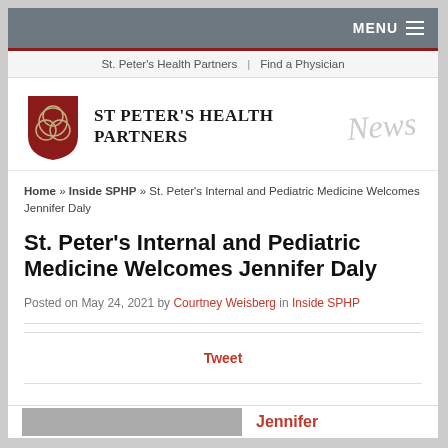MENU
St. Peter's Health Partners | Find a Physician
[Figure (logo): St. Peter's Health Partners logo with triquetra shield in red and organization name, with 'News' in script]
Home » Inside SPHP » St. Peter's Internal and Pediatric Medicine Welcomes Jennifer Daly
St. Peter's Internal and Pediatric Medicine Welcomes Jennifer Daly
Posted on May 24, 2021 by Courtney Weisberg in Inside SPHP
Tweet
[Figure (photo): Jennifer - partial image visible at bottom of page]